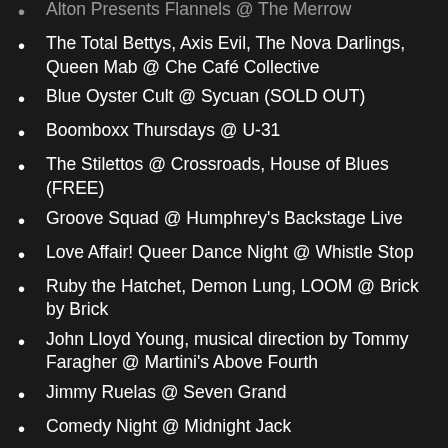Alton Presents Flannels @ The Merrow
The Total Bettys, Axis Evil, The Nova Darlings, Queen Mab @ Che Café Collective
Blue Oyster Cult @ Sycuan (SOLD OUT)
Boomboxx Thursdays @ U-31
The Stilettos @ Crossroads, House of Blues (FREE)
Groove Squad @ Humphrey's Backstage Live
Love Affair! Queer Dance Night @ Whistle Stop
Ruby the Hatchet, Demon Lung, LOOM @ Brick by Brick
John Lloyd Young, musical direction by Tommy Faragher @ Martini's Above Fourth
Jimmy Ruelas @ Seven Grand
Comedy Night @ Midnight Jack
Peter Evans & Guests @ The Loft, UCSD